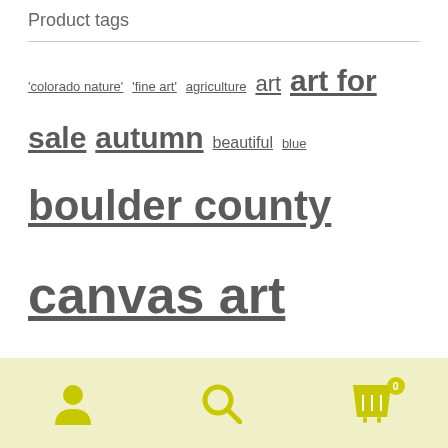Product tags
'colorado nature' 'fine art' agriculture art art for sale autumn beautiful blue boulder county canvas art canvas art prints canvas wall art canvas wraps colorado colorado canvas art colorful countryside creek fall foliage forest for sale front range james bo insogna james insogna landscape landscapes mountain mountains nature nature pictures Panorama ready to hang art red rocky rocky mountains